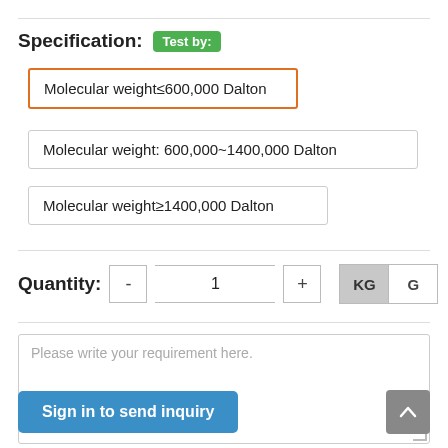Specification: Test by:
Molecular weight≤600,000 Dalton
Molecular weight: 600,000~1400,000 Dalton
Molecular weight≥1400,000 Dalton
Quantity: - 1 + KG G
Please write your requirement here.
Sign in to send inquiry